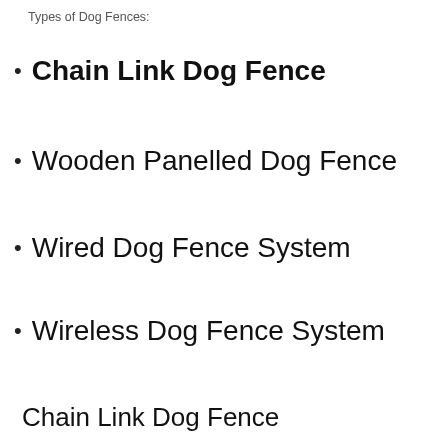Types of Dog Fences:
Chain Link Dog Fence
Wooden Panelled Dog Fence
Wired Dog Fence System
Wireless Dog Fence System
Chain Link Dog Fence